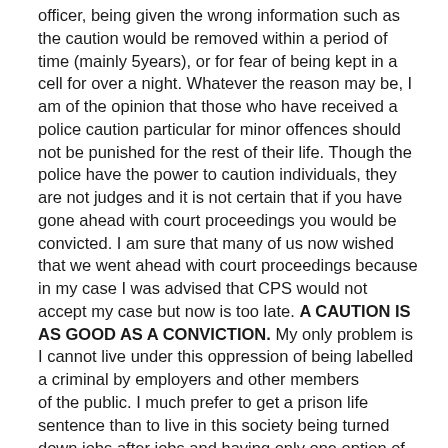officer, being given the wrong information such as the caution would be removed within a period of time (mainly 5years), or for fear of being kept in a cell for over a night. Whatever the reason may be, I am of the opinion that those who have received a police caution particular for minor offences should not be punished for the rest of their life. Though the police have the power to caution individuals, they are not judges and it is not certain that if you have gone ahead with court proceedings you would be convicted. I am sure that many of us now wished that we went ahead with court proceedings because in my case I was advised that CPS would not accept my case but now is too late. A CAUTION IS AS GOOD AS A CONVICTION. My only problem is I cannot live under this oppression of being labelled a criminal by employers and other members
of the public. I much prefer to get a prison life sentence than to live in this society being turned down jobs after jobs and having only one option of depending in benefits.